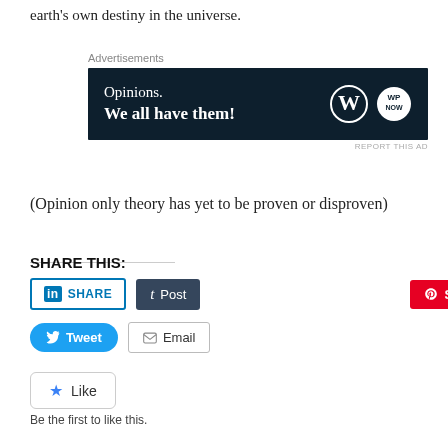earth's own destiny in the universe.
[Figure (screenshot): Advertisement banner with dark navy background. Text reads 'Opinions. We all have them!' with WordPress and WPNow logos on the right.]
(Opinion only theory has yet to be proven or disproven)
SHARE THIS:
[Figure (screenshot): Social share buttons: LinkedIn SHARE, Tumblr Post, Pinterest Save, Twitter Tweet, Email]
[Figure (screenshot): Like button widget with star icon]
Be the first to like this.